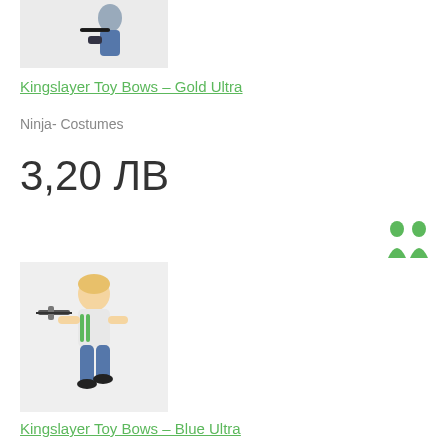[Figure (photo): Partial product image of Kingslayer Toy Bows Gold Ultra at top of page, cut off]
Kingslayer Toy Bows – Gold Ultra
Ninja- Costumes
3,20 ЛВ
[Figure (photo): Boy jumping with toy crossbow, Kingslayer Toy Bows Blue Ultra product image on light gray background]
Kingslayer Toy Bows – Blue Ultra
Avatar Toy Armory- Melee Weapons
1,60 ЛВ